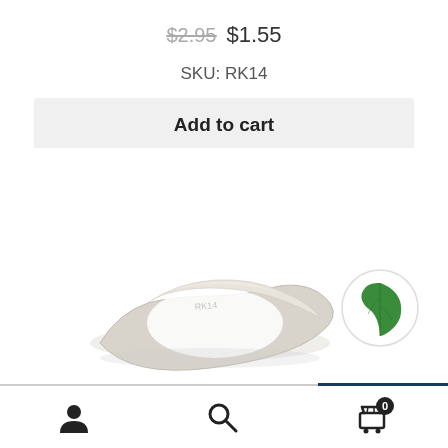$2.95  $1.55
SKU: RK14
Add to cart
[Figure (photo): A white/cream colored ring (plant label ring) photographed on a white background, showing engraved text on the band.]
[Figure (logo): Green leaf eco/plant icon inside a white circle with a thin gray border.]
Navigation bar with user account icon, search icon, and shopping cart icon with badge showing 0